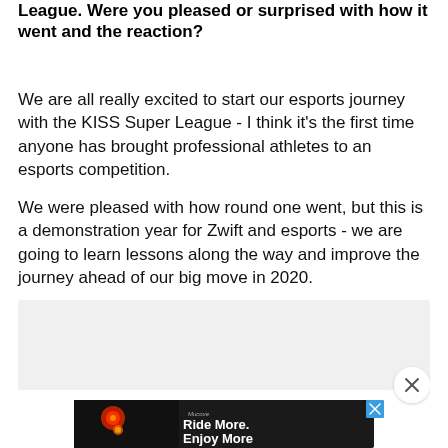League. Were you pleased or surprised with how it went and the reaction?
We are all really excited to start our esports journey with the KISS Super League - I think it's the first time anyone has brought professional athletes to an esports competition.
We were pleased with how round one went, but this is a demonstration year for Zwift and esports - we are going to learn lessons along the way and improve the journey ahead of our big move in 2020.
[Figure (other): Advertisement banner: 'Ride More. Enjoy More' with cycling light product image on dark background, with close (X) button overlay]